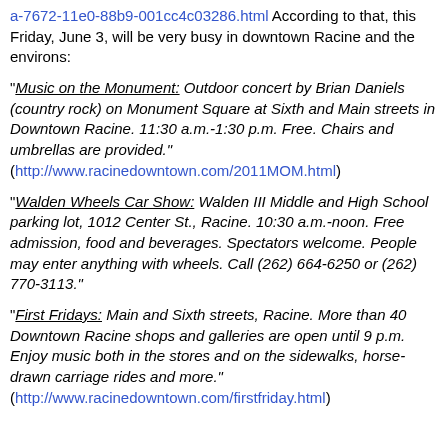a-7672-11e0-88b9-001cc4c03286.html According to that, this Friday, June 3, will be very busy in downtown Racine and the environs:
"Music on the Monument: Outdoor concert by Brian Daniels (country rock) on Monument Square at Sixth and Main streets in Downtown Racine. 11:30 a.m.-1:30 p.m. Free. Chairs and umbrellas are provided." (http://www.racinedowntown.com/2011MOM.html)
"Walden Wheels Car Show: Walden III Middle and High School parking lot, 1012 Center St., Racine. 10:30 a.m.-noon. Free admission, food and beverages. Spectators welcome. People may enter anything with wheels. Call (262) 664-6250 or (262) 770-3113."
"First Fridays: Main and Sixth streets, Racine. More than 40 Downtown Racine shops and galleries are open until 9 p.m. Enjoy music both in the stores and on the sidewalks, horse-drawn carriage rides and more." (http://www.racinedowntown.com/firstfriday.html)